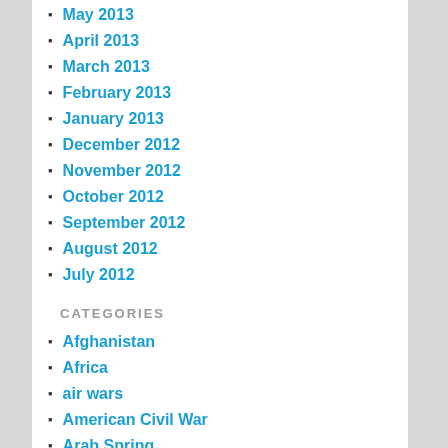May 2013
April 2013
March 2013
February 2013
January 2013
December 2012
November 2012
October 2012
September 2012
August 2012
July 2012
CATEGORIES
Afghanistan
Africa
air wars
American Civil War
Arab Spring
arms and weapons
art
biopolitics